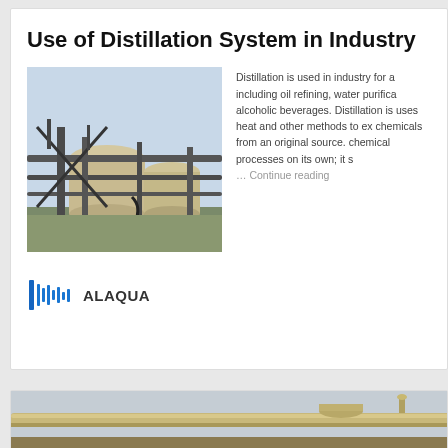Use of Distillation System in Industry
[Figure (photo): Industrial distillation columns and pipes at a refinery or chemical plant]
Distillation is used in industry for a including oil refining, water purification, alcoholic beverages. Distillation is uses heat and other methods to ex chemicals from an original source. chemical processes on its own; it s … Continue reading
[Figure (logo): ALAQUA company logo with stylized water/wave graphic]
ALAQUA
[Figure (photo): Industrial pipeline and distillation equipment outdoors, muted colors]